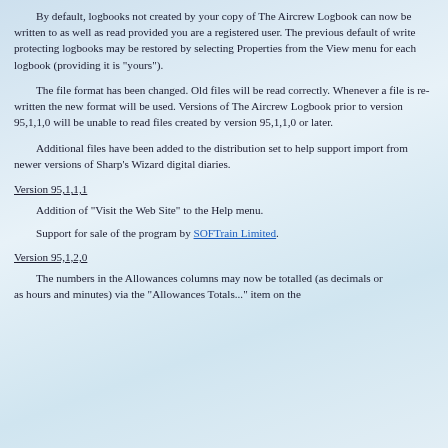By default, logbooks not created by your copy of The Aircrew Logbook can now be written to as well as read provided you are a registered user. The previous default of write protecting logbooks may be restored by selecting Properties from the View menu for each logbook (providing it is "yours").
The file format has been changed. Old files will be read correctly. Whenever a file is re-written the new format will be used. Versions of The Aircrew Logbook prior to version 95,1,1,0 will be unable to read files created by version 95,1,1,0 or later.
Additional files have been added to the distribution set to help support import from newer versions of Sharp's Wizard digital diaries.
Version 95,1,1,1
Addition of "Visit the Web Site" to the Help menu.
Support for sale of the program by SOFTrain Limited.
Version 95,1,2,0
The numbers in the Allowances columns may now be totalled (as decimals or as hours and minutes) via the "Allowances Totals..." item on the